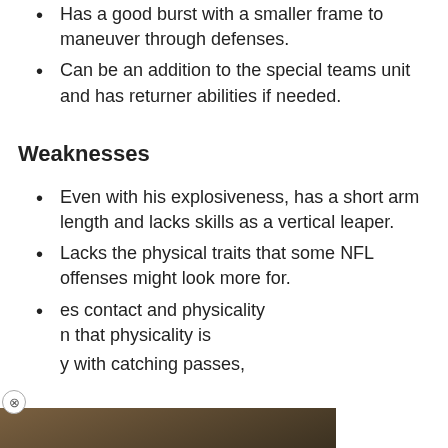Has a good burst with a smaller frame to maneuver through defenses.
Can be an addition to the special teams unit and has returner abilities if needed.
Weaknesses
Even with his explosiveness, has a short arm length and lacks skills as a vertical leaper.
Lacks the physical traits that some NFL offenses might look more for.
…es contact and physicality n that physicality is
…with catching passes,
[Figure (screenshot): Video player overlay showing a man in a blue shirt in an office setting, with a play button in the center and caption text reading 'On Shaq Leonard going through']